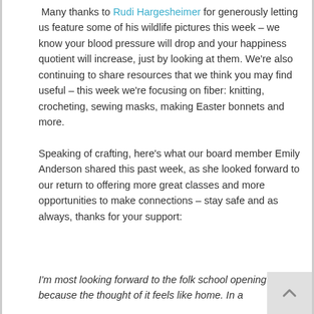Many thanks to Rudi Hargesheimer for generously letting us feature some of his wildlife pictures this week – we know your blood pressure will drop and your happiness quotient will increase, just by looking at them. We're also continuing to share resources that we think you may find useful – this week we're focusing on fiber: knitting, crocheting, sewing masks, making Easter bonnets and more.
Speaking of crafting, here's what our board member Emily Anderson shared this past week, as she looked forward to our return to offering more great classes and more opportunities to make connections – stay safe and as always, thanks for your support:
I'm most looking forward to the folk school opening again because the thought of it feels like home. In a